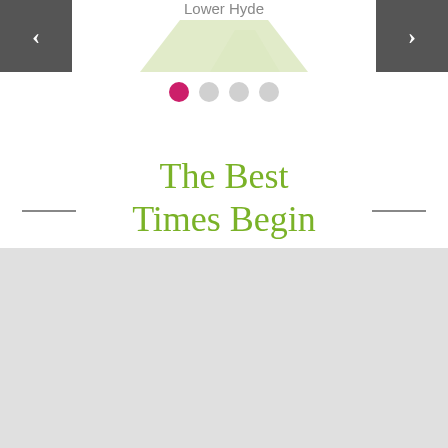[Figure (screenshot): Map thumbnail showing 'Lower Hyde' location label, with navigation arrows on left and right sides, and a carousel dot indicator below (first dot active in pink, three inactive grey dots)]
The Best Times Begin Here